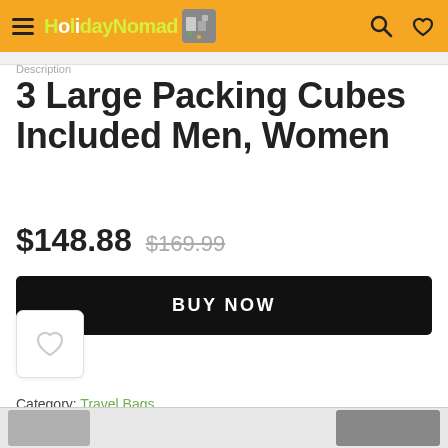HolidayNomad
Description
3 Large Packing Cubes Included Men, Women
$148.88  $169.99
BUY NOW
Category: Travel Bags
Tag: bags for travel